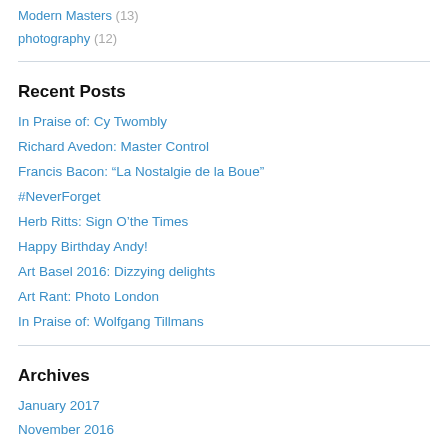Modern Masters (13)
photography (12)
Recent Posts
In Praise of: Cy Twombly
Richard Avedon: Master Control
Francis Bacon: “La Nostalgie de la Boue”
#NeverForget
Herb Ritts: Sign O’the Times
Happy Birthday Andy!
Art Basel 2016: Dizzying delights
Art Rant: Photo London
In Praise of: Wolfgang Tillmans
Archives
January 2017
November 2016